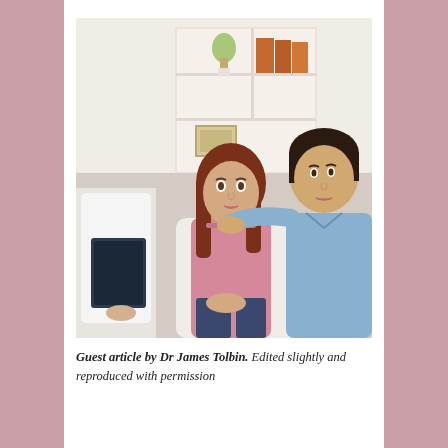[Figure (photo): A couple sitting on a white sofa in a bright room with white shelving unit containing books and a plant in the background. The woman has long auburn/brown hair and is wearing a pink long-sleeve top and dark jeans, looking upward with an anxious expression. The man beside her has short dark hair and is wearing a light blue shirt, looking at her and touching her shoulder. A person in a white coat (presumably a doctor or counselor) is partially visible in the foreground left, holding a clipboard/tablet.]
Guest article by Dr James Tolbin. Edited slightly and reproduced with permission